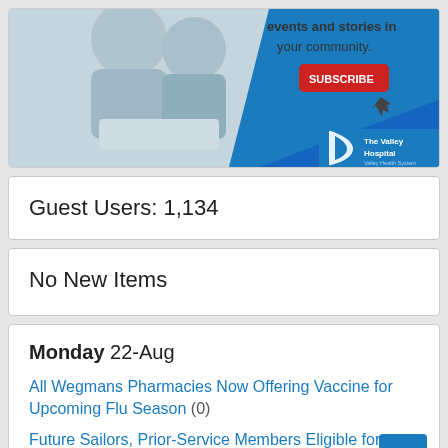[Figure (photo): Advertisement banner for The Valley Hospital showing two people smiling at a laptop with a red Subscribe button and blue diagonal branding.]
Guest Users: 1,134
No New Items
Monday 22-Aug
All Wegmans Pharmacies Now Offering Vaccine for Upcoming Flu Season (0)
Future Sailors, Prior-Service Members Eligible for Bonuses and Loan Repayment up to $115,000 (0)